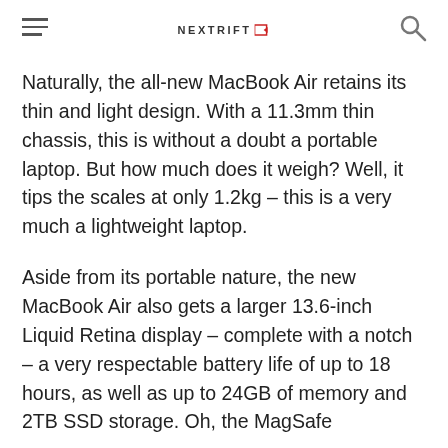NEXTRIFT
Naturally, the all-new MacBook Air retains its thin and light design. With a 11.3mm thin chassis, this is without a doubt a portable laptop. But how much does it weigh? Well, it tips the scales at only 1.2kg – this is a very much a lightweight laptop.
Aside from its portable nature, the new MacBook Air also gets a larger 13.6-inch Liquid Retina display – complete with a notch – a very respectable battery life of up to 18 hours, as well as up to 24GB of memory and 2TB SSD storage. Oh, the MagSafe